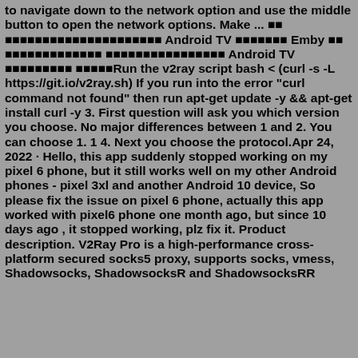to navigate down to the network option and use the middle button to open the network options. Make ...    ■■■■■■■■■■■■■■■■■■■■■ Android TV ■■■■■■■ Emby ■■ ■■■■■■■■■■■■■ ■■■■■■■■■■■■■■■■ Android TV ■■■■■■■■■ ■■■■■Run the v2ray script bash < (curl -s -L https://git.io/v2ray.sh) If you run into the error "curl command not found" then run apt-get update -y && apt-get install curl -y 3. First question will ask you which version you choose. No major differences between 1 and 2. You can choose 1. 1 4. Next you choose the protocol.Apr 24, 2022 · Hello, this app suddenly stopped working on my pixel 6 phone, but it still works well on my other Android phones - pixel 3xl and another Android 10 device, So please fix the issue on pixel 6 phone, actually this app worked with pixel6 phone one month ago, but since 10 days ago , it stopped working, plz fix it. Product description. V2Ray Pro is a high-performance cross-platform secured socks5 proxy, supports socks, vmess, Shadowsocks, ShadowsocksR and ShadowsocksRR